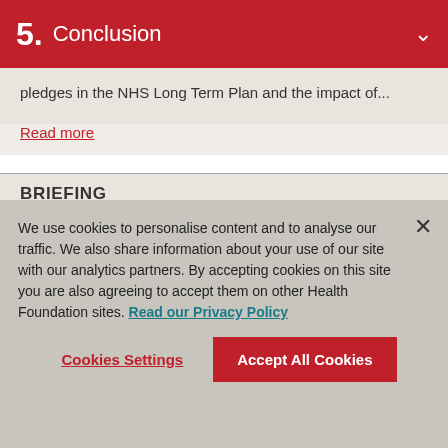5. Conclusion
pledges in the NHS Long Term Plan and the impact of...
Read more
BRIEFING
The government's levelling up
We use cookies to personalise content and to analyse our traffic. We also share information about your use of our site with our analytics partners. By accepting cookies on this site you are also agreeing to accept them on other Health Foundation sites. Read our Privacy Policy
Cookies Settings   Accept All Cookies